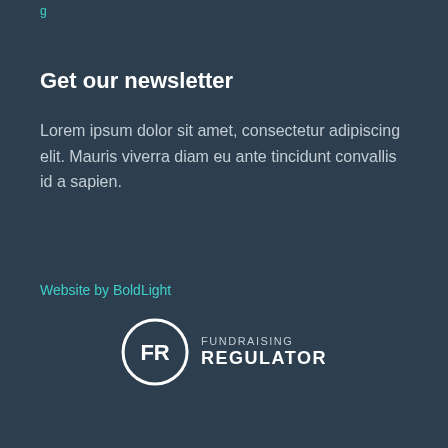g
Get our newsletter
Lorem ipsum dolor sit amet, consectetur adipiscing elit. Mauris viverra diam eu ante tincidunt convallis id a sapien.
Website by BoldLight
[Figure (logo): Fundraising Regulator logo: circle with FR initials and FUNDRAISING REGULATOR text to the right]